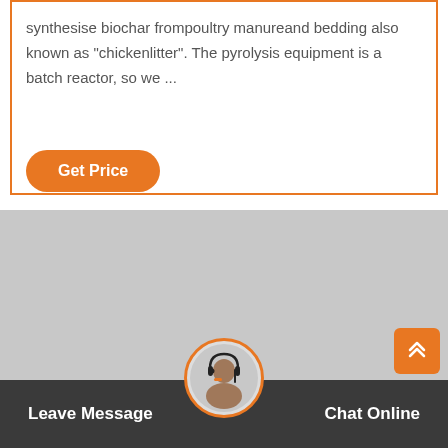synthesise biochar frompoultry manureand bedding also known as "chickenlitter". The pyrolysis equipment is a batch reactor, so we ...
[Figure (other): Orange 'Get Price' button with rounded pill shape]
[Figure (photo): Gray placeholder image area representing a content image]
[Figure (other): Orange scroll-to-top button with double upward chevron arrows]
[Figure (photo): Circular avatar of a female customer service agent with headset, with orange ring border]
Leave Message
Chat Online